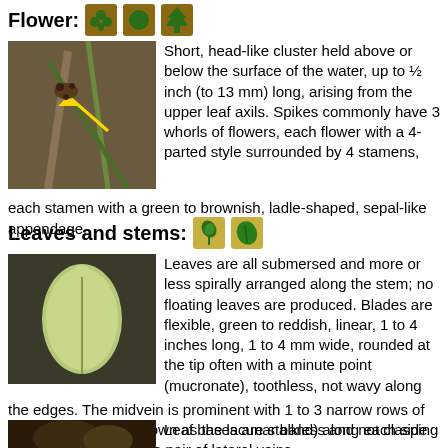Flower:
[Figure (photo): Close-up photograph of aquatic plant flower with yellow arrow pointing to flower cluster, brownish stem and green leaves visible]
Short, head-like cluster held above or below the surface of the water, up to ½ inch (to 13 mm) long, arising from the upper leaf axils. Spikes commonly have 3 whorls of flowers, each flower with a 4-parted style surrounded by 4 stamens, each stamen with a green to brownish, ladle-shaped, sepal-like appendage.
Leaves and stems:
[Figure (photo): Close-up photograph of a single submersed leaf blade, pale green/yellowish, linear shape with rounded tip and visible midvein]
Leaves are all submersed and more or less spirally arranged along the stem; no floating leaves are produced. Blades are flexible, green to reddish, linear, 1 to 4 inches long, 1 to 4 mm wide, rounded at the tip often with a minute point (mucronate), toothless, not wavy along the edges. The midvein is prominent with 1 to 3 narrow rows of large, empty cells (known as the lacunar band) along each side and flanked by a single pair of lateral veins.
[Figure (photo): Partial photograph at bottom of page showing dark plant material, leaf bases]
Leaf bases are stalkless and not clasping